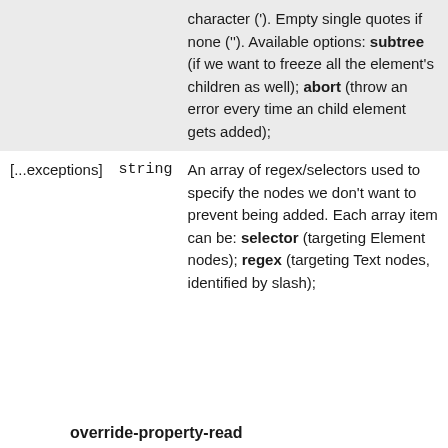| Parameter | Type | Description |
| --- | --- | --- |
|  |  | character ('). Empty single quotes if none (''). Available options: subtree (if we want to freeze all the element's children as well); abort (throw an error every time an child element gets added); |
| [...exceptions] | string | An array of regex/selectors used to specify the nodes we don't want to prevent being added. Each array item can be: selector (targeting Element nodes); regex (targeting Text nodes, identified by slash); |
override-property-read